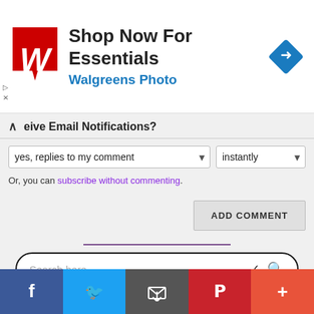[Figure (screenshot): Walgreens Photo advertisement banner with red logo, bold title 'Shop Now For Essentials', blue subtitle 'Walgreens Photo', and blue navigation arrow icon on the right]
eive Email Notifications?
yes, replies to my comment | instantly
Or, you can subscribe without commenting.
ADD COMMENT
Search here..
Friendly Websites
[Figure (screenshot): Social media share bar with Facebook, Twitter, Email, Pinterest, and More (+) buttons]